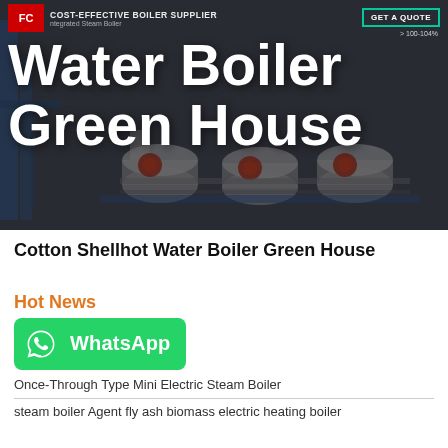[Figure (photo): Dark themed hero banner showing industrial hot water boilers/steam boilers in a facility, with overlaid large white bold text 'Water Boiler Green House'. Header bar shows 'COST-EFFECTIVE BOILER SUPPLIER' and 'Integrated Steam Boiler'. A 'GET A QUOTE' button is visible top right. An efficiency tag '>100-104%' is partially visible.]
Cotton Shellhot Water Boiler Green House
Hot News
[Figure (logo): WhatsApp button - green rounded rectangle with WhatsApp phone icon and 'WhatsApp' text in white]
Once-Through Type Mini Electric Steam Boiler
steam boiler Agent fly ash biomass electric heating boiler